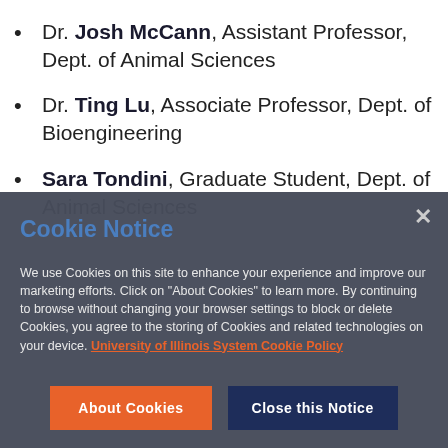Dr. Josh McCann, Assistant Professor, Dept. of Animal Sciences
Dr. Ting Lu, Associate Professor, Dept. of Bioengineering
Sara Tondini, Graduate Student, Dept. of Animal Sciences
Cookie Notice
We use Cookies on this site to enhance your experience and improve our marketing efforts. Click on "About Cookies" to learn more. By continuing to browse without changing your browser settings to block or delete Cookies, you agree to the storing of Cookies and related technologies on your device. University of Illinois System Cookie Policy